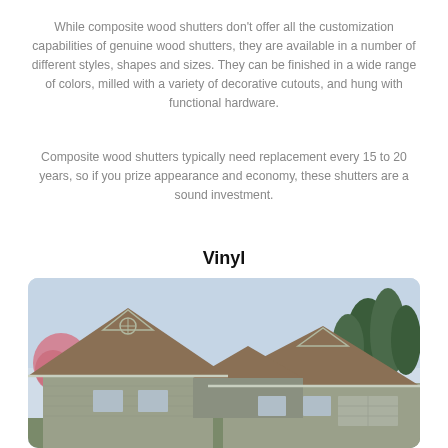While composite wood shutters don't offer all the customization capabilities of genuine wood shutters, they are available in a number of different styles, shapes and sizes. They can be finished in a wide range of colors, milled with a variety of decorative cutouts, and hung with functional hardware.
Composite wood shutters typically need replacement every 15 to 20 years, so if you prize appearance and economy, these shutters are a sound investment.
Vinyl
[Figure (photo): Exterior photo of a house showing rooftops with triangular gabled peaks, greenish-gray siding with decorative trim, brown/tan shingle roofing, and trees (pink flowering tree on left, green evergreens on right) against a pale blue sky.]